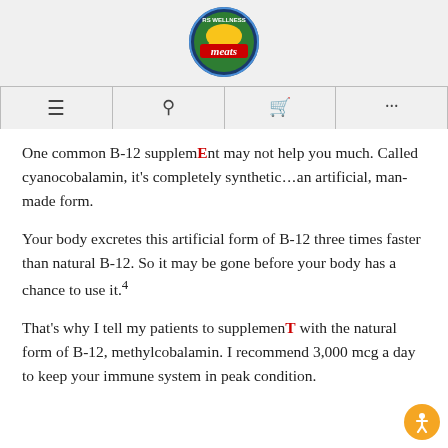[Figure (logo): RS Wellness Meats circular logo with green, blue, red and yellow colors]
Navigation bar with menu, search, cart, and more icons
One common B-12 supplEmEnt may not help you much. Called cyanocobalamin, it’s completely synthetic…an artificial, man-made form.
Your body excretes this artificial form of B-12 three times faster than natural B-12. So it may be gone before your body has a chance to use it.⁴
That’s why I tell my patients to supplemenT with the natural form of B-12, methylcobalamin. I recommend 3,000 mcg a day to keep your immune system in peak condition.